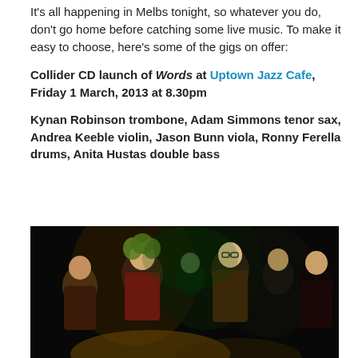It's all happening in Melbs tonight, so whatever you do, don't go home before catching some live music. To make it easy to choose, here's some of the gigs on offer:
Collider CD launch of Words at Uptown Jazz Cafe, Friday 1 March, 2013 at 8.30pm
Kynan Robinson trombone, Adam Simmons tenor sax, Andrea Keeble violin, Jason Bunn viola, Ronny Ferella drums, Anita Hustas double bass
[Figure (photo): Group photo of six musicians standing together in a dark venue with green and yellow stage lighting. The group includes men and women, casually dressed.]